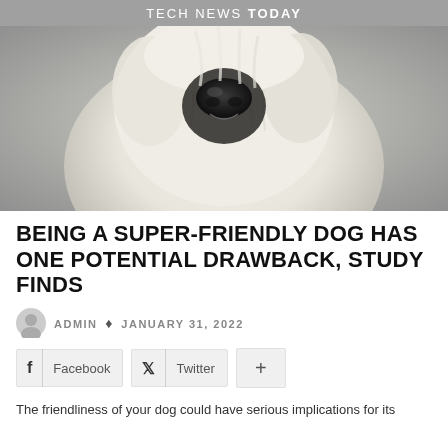TECH NEWS TODAY
[Figure (photo): Close-up photo of a fluffy white dog looking upward, with a grey background]
BEING A SUPER-FRIENDLY DOG HAS ONE POTENTIAL DRAWBACK, STUDY FINDS
ADMIN • JANUARY 31, 2022
Facebook  Twitter  +
The friendliness of your dog could have serious implications for its